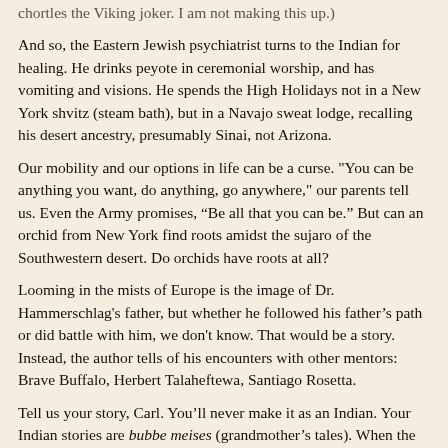chortles the Viking joker. I am not making this up.)
And so, the Eastern Jewish psychiatrist turns to the Indian for healing. He drinks peyote in ceremonial worship, and has vomiting and visions. He spends the High Holidays not in a New York shvitz (steam bath), but in a Navajo sweat lodge, recalling his desert ancestry, presumably Sinai, not Arizona.
Our mobility and our options in life can be a curse. "You can be anything you want, do anything, go anywhere," our parents tell us. Even the Army promises, “Be all that you can be.” But can an orchid from New York find roots amidst the sujaro of the Southwestern desert. Do orchids have roots at all?
Looming in the mists of Europe is the image of Dr. Hammerschlag's father, but whether he followed his father’s path or did battle with him, we don't know. That would be a story. Instead, the author tells of his encounters with other mentors: Brave Buffalo, Herbert Talaheftewa, Santiago Rosetta.
Tell us your story, Carl. You’ll never make it as an Indian. Your Indian stories are bubbe meises (grandmother’s tales). When the Indians chant, "Oy, oy, oy," it’s not Yiddish. We await your dance.
Home